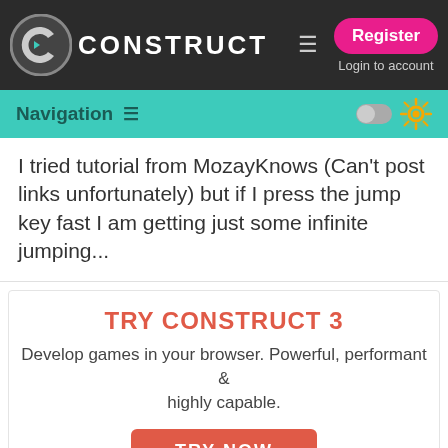CONSTRUCT - Navigation - Register - Login to account
I tried tutorial from MozayKnows (Can't post links unfortunately) but if I press the jump key fast I am getting just some infinite jumping...
[Figure (infographic): TRY CONSTRUCT 3 advertisement banner with TRY NOW button]
TwinBlazar - 1 vote
Which part do you not understand?